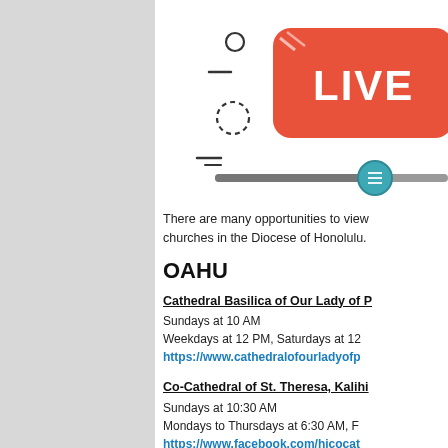[Figure (illustration): Illustration of a live streaming icon: a red rounded rectangle with 'LIVE' text in white, surrounded by camera/broadcast icons and a slider control bar with a teal/blue circle slider knob.]
There are many opportunities to view churches in the Diocese of Honolulu.
OAHU
Cathedral Basilica of Our Lady of P...
Sundays at 10 AM
Weekdays at 12 PM, Saturdays at 12...
https://www.cathedralofourladyofp...
Co-Cathedral of St. Theresa, Kalihi...
Sundays at 10:30 AM
Mondays to Thursdays at 6:30 AM, F...
https://www.facebook.com/hicocat...